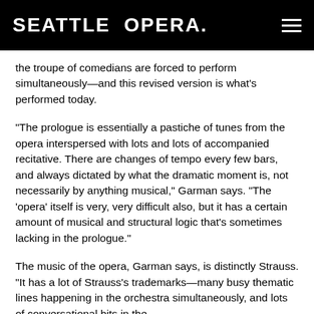SEATTLE OPERA.
the troupe of comedians are forced to perform simultaneously—and this revised version is what's performed today.
“The prologue is essentially a pastiche of tunes from the opera interspersed with lots and lots of accompanied recitative. There are changes of tempo every few bars, and always dictated by what the dramatic moment is, not necessarily by anything musical,” Garman says. “The ‘opera’ itself is very, very difficult also, but it has a certain amount of musical and structural logic that’s sometimes lacking in the prologue.”
The music of the opera, Garman says, is distinctly Strauss. “It has a lot of Strauss’s trademarks—many busy thematic lines happening in the orchestra simultaneously, and lots of conversational bits in the